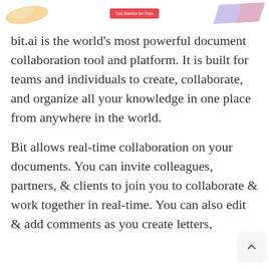[decorative header with logo shapes and Get Started for Free button]
bit.ai is the world's most powerful document collaboration tool and platform. It is built for teams and individuals to create, collaborate, and organize all your knowledge in one place from anywhere in the world.
Bit allows real-time collaboration on your documents. You can invite colleagues, partners, & clients to join you to collaborate & work together in real-time. You can also edit & add comments as you create letters,